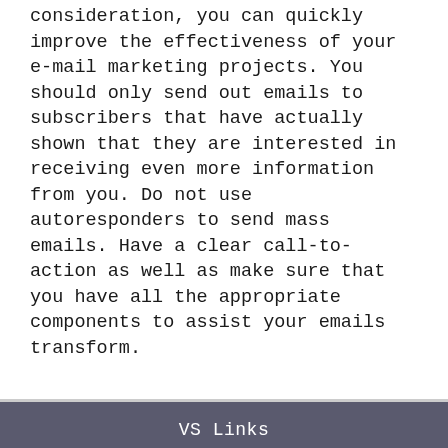consideration, you can quickly improve the effectiveness of your e-mail marketing projects. You should only send out emails to subscribers that have actually shown that they are interested in receiving even more information from you. Do not use autoresponders to send mass emails. Have a clear call-to-action as well as make sure that you have all the appropriate components to assist your emails transform.
VS Links
We receive compensation from companies whose products and services we recommend. ©2022 cherryhillhomes.net All Rights Reserved.